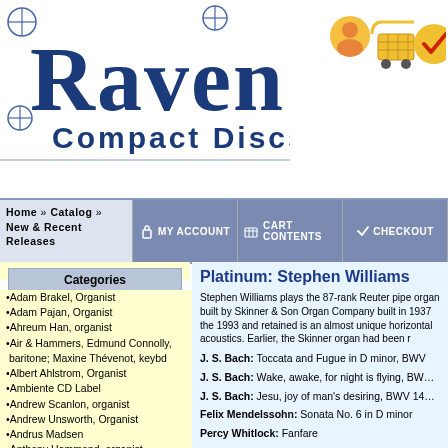[Figure (logo): Raven Compact Discs logo with stylized blue serif text and decorative crosshair marks]
[Figure (illustration): Three icons: person avatar (yellow/orange), shopping cart (yellow), checkmark (yellow/red)]
Home » Catalog » New & Recent Releases | MY ACCOUNT | CART CONTENTS | CHECKOUT
Platinum: Stephen Williams
Stephen Williams plays the 87-rank Reuter pipe organ built by Skinner & Son Organ Company built in 1937 the 1993 and retained is an almost unique horizontal acoustics. Earlier, the Skinner organ had been r
Categories
Adam Brakel, Organist
Adam Pajan, Organist
Ahreum Han, organist
Air & Hammers, Edmund Connolly, baritone; Maxine Thévenot, keybd
Albert Ahlstrom, Organist
Ambiente CD Label
Andrew Scanlon, organist
Andrew Unsworth, Organist
Andrus Madsen
Anthony Hammond, organist
Anton Heiller
Artis Wodehouse, harmoniumist
Aude Heurtematte, organist
Barbara Raedeke, Organist
Books
Brenda Portman, Organist
Cantate Chamber Singers
Carla Edwards, Organist
Charles Echols, Organist
Christina Harmon, Organist
Christoph Kuhlmann, Organist
Christophe Mantoux, organist
J. S. Bach: Toccata and Fugue in D minor, BW…
J. S. Bach: Wake, awake, for night is flying, BW…
J. S. Bach: Jesu, joy of man's desiring, BWV 14…
Felix Mendelssohn: Sonata No. 6 in D minor
Percy Whitlock: Fanfare
Antonio Soler: The Emperor's Fanfare
César Franck: Choral No. 2 in B minor